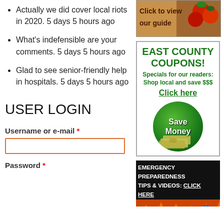Actually we did cover local riots in 2020. 5 days 5 hours ago
What's indefensible are your comments. 5 days 5 hours ago
Glad to see senior-friendly help in hospitals. 5 days 5 hours ago
USER LOGIN
Username or e-mail *
Password *
[Figure (photo): Advertisement with tomatoes and text 'Click to view our guide']
[Figure (infographic): East County Coupons advertisement with green circle Save Money and cash bills]
[Figure (infographic): Emergency Preparedness Tips & Videos: Click Here advertisement with fire imagery]